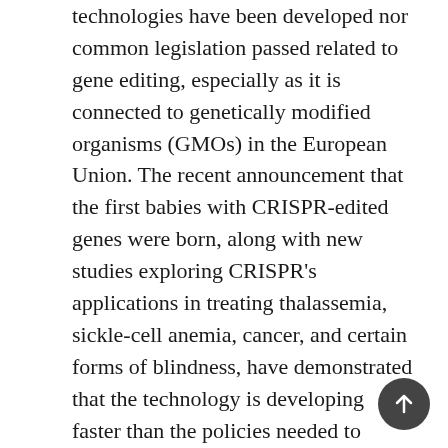technologies have been developed nor common legislation passed related to gene editing, especially as it is connected to genetically modified organisms (GMOs) in the European Union. The recent announcement that the first babies with CRISPR-edited genes were born, along with new studies exploring CRISPR's applications in treating thalassemia, sickle-cell anemia, cancer, and certain forms of blindness, have demonstrated that the technology is developing faster than the policies needed to control it. Therefore, it can be seen that a reasonable and coherent regulatory framework for the use of CRISPR in human somatic and germline cells is necessary to ensure the ethical use of the technology in future years. The European Union serves as a unique region of interconnected countries without a standard set of regulations or legislation for CRISPR gene-editing. We posit that the EU would serve as a suitable